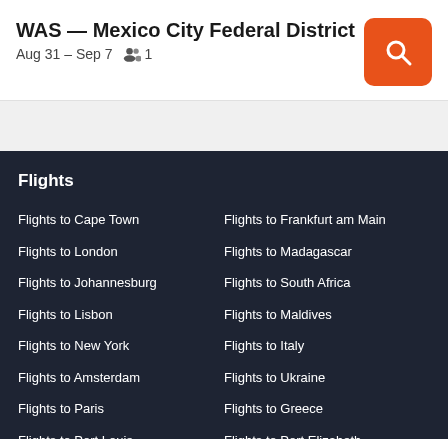WAS — Mexico City Federal District
Aug 31 – Sep 7   👥 1
Flights
Flights to Cape Town
Flights to London
Flights to Johannesburg
Flights to Lisbon
Flights to New York
Flights to Amsterdam
Flights to Paris
Flights to Port Louis
Flights to Rome
Flights to Frankfurt am Main
Flights to Madagascar
Flights to South Africa
Flights to Maldives
Flights to Italy
Flights to Ukraine
Flights to Greece
Flights to Port Elizabeth
Flights to East London